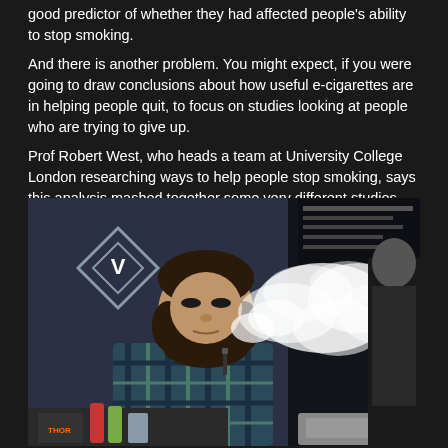good predictor of whether they had affected people's ability to stop smoking.
And there is another problem. You might expect, if you were going to draw conclusions about how useful e-cigarettes are in helping people quit, to focus on studies looking at people who are trying to give up.
Prof Robert West, who heads a team at University College London researching ways to help people stop smoking, says this analysis mashed together some very different studies – only some of which include people using e-cigarettes to help them quit.
[Figure (photo): A bearded young man in a plaid shirt exhaling a large cloud of vapor from an e-cigarette in what appears to be a vape shop. The background shows a dark interior with a diamond-shaped logo with a 'V'. Another person is visible in the background on the right. Various bottles and items are on the counter in front of him.]